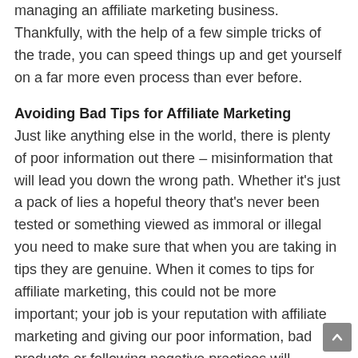managing an affiliate marketing business. Thankfully, with the help of a few simple tricks of the trade, you can speed things up and get yourself on a far more even process than ever before.
Avoiding Bad Tips for Affiliate Marketing
Just like anything else in the world, there is plenty of poor information out there – misinformation that will lead you down the wrong path. Whether it's just a pack of lies a hopeful theory that's never been tested or something viewed as immoral or illegal you need to make sure that when you are taking in tips they are genuine. When it comes to tips for affiliate marketing, this could not be more important; your job is your reputation with affiliate marketing and giving our poor information, bad products or following negative practices will damage your reputation massively.